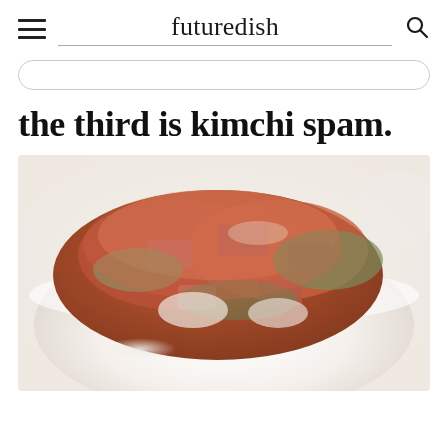futuredish
the third is kimchi spam.
[Figure (photo): A white bowl filled with kimchi spam stir-fry, showing chunks of spam (pink/red meat) mixed with kimchi (cabbage and vegetables in red sauce), photographed close-up on a light marble surface.]